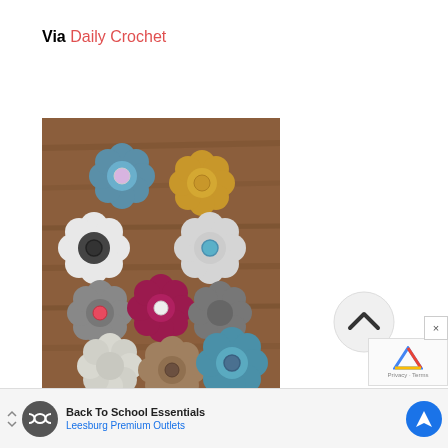Via Daily Crochet
[Figure (photo): A circular arrangement of colorful crocheted flowers with buttons at their centers, displayed on a wooden surface. Flowers in various colors including blue, gold, white, dark gray, maroon, light gray, beige, and teal.]
Back To School Essentials Leesburg Premium Outlets